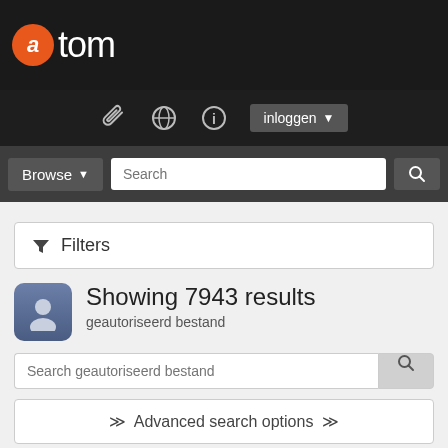atom
Filters
Showing 7943 results
geautoriseerd bestand
Search geautoriseerd bestand
Advanced search options
Gesorteerd op: Naam Direction: Ascending
Addie, Lorraine